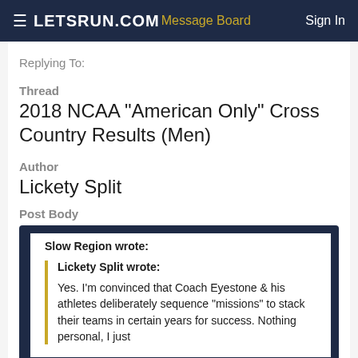LETSRUN.COM | Message Board | Sign In
Replying To:
Thread
2018 NCAA "American Only" Cross Country Results (Men)
Author
Lickety Split
Post Body
Slow Region wrote:
Lickety Split wrote:
Yes. I'm convinced that Coach Eyestone & his athletes deliberately sequence "missions" to stack their teams in certain years for success. Nothing personal, I just